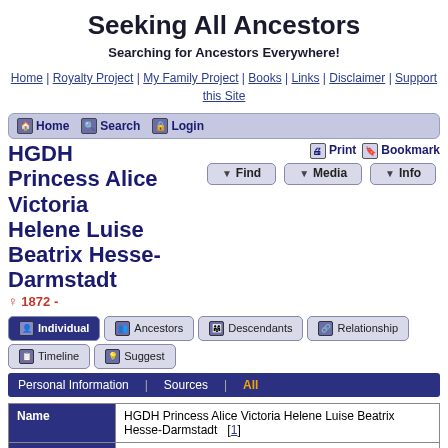Seeking All Ancestors
Searching for Ancestors Everywhere!
Home | Royalty Project | My Family Project | Books | Links | Disclaimer | Support this Site
Home  Search  Login
Find  Media  Info  Print  Bookmark
HGDH Princess Alice Victoria Helene Luise Beatrix Hesse-Darmstadt ♀ 1872 -
Individual  Ancestors  Descendants  Relationship  Timeline  Suggest
Personal Information  |  Sources  |  All
| Field | Value |
| --- | --- |
| Name | HGDH Princess Alice Victoria Helene Luise Beatrix Hesse-Darmstadt  [1] |
| Prefix | HGDH Princess |
| Born | 6 Jun 1872 | Neues Palais, Darmstadt 🔑 [2, 3, 4] |